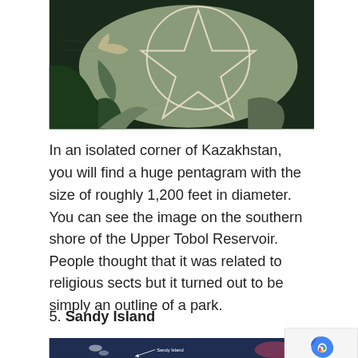[Figure (photo): Aerial/satellite view of a large pentagram drawn on land near the southern shore of the Upper Tobol Reservoir in Kazakhstan. The pentagram is inscribed in a circle, visible on a greyish-green landmass surrounded by dark water.]
In an isolated corner of Kazakhstan, you will find a huge pentagram with the size of roughly 1,200 feet in diameter. You can see the image on the southern shore of the Upper Tobol Reservoir. People thought that it was related to religious sects but it turned out to be simply an outline of a park.
5. Sandy Island
[Figure (photo): Satellite/map image showing Sandy Island location in dark blue ocean with pink/red landmasses visible. A white arrow and label reading 'Sandy Island' point to a location in the image.]